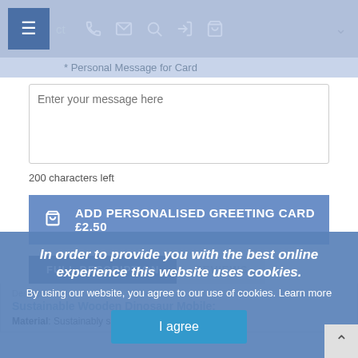Navigation bar with hamburger menu, phone, email, search, login, cart icons
* Personal Message for Card
Enter your message here
200 characters left
ADD PERSONALISED GREETING CARD £2.50
FULL DESCRIPTION | REVIEWS
Description
Sustainable Wooden Dinosaur Mobile:
Material: Sustainably sourced wood, non-toxic paints
In order to provide you with the best online experience this website uses cookies. By using our website, you agree to our use of cookies. Learn more
I agree